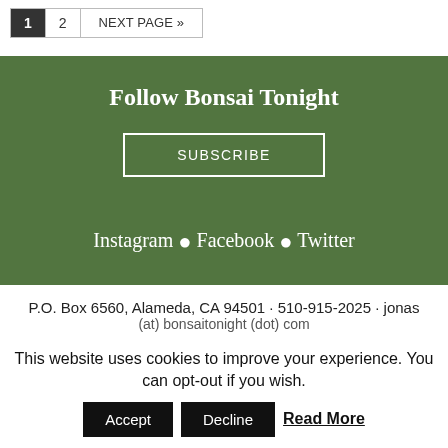1  2  NEXT PAGE »
Follow Bonsai Tonight
SUBSCRIBE
Instagram • Facebook • Twitter
P.O. Box 6560, Alameda, CA 94501 · 510-915-2025 · jonas
(at) bonsaitonight (dot) com
This website uses cookies to improve your experience. You can opt-out if you wish.
Accept  Decline  Read More